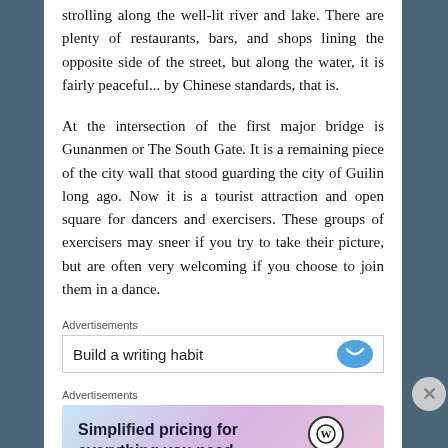strolling along the well-lit river and lake. There are plenty of restaurants, bars, and shops lining the opposite side of the street, but along the water, it is fairly peaceful... by Chinese standards, that is.
At the intersection of the first major bridge is Gunanmen or The South Gate. It is a remaining piece of the city wall that stood guarding the city of Guilin long ago. Now it is a tourist attraction and open square for dancers and exercisers. These groups of exercisers may sneer if you try to take their picture, but are often very welcoming if you choose to join them in a dance.
Advertisements
[Figure (screenshot): Advertisement banner showing 'Build a writing habit' with a blue button on the right]
Advertisements
[Figure (screenshot): WordPress.com advertisement: 'Simplified pricing for everything you need.' with WordPress.com logo on gradient background]